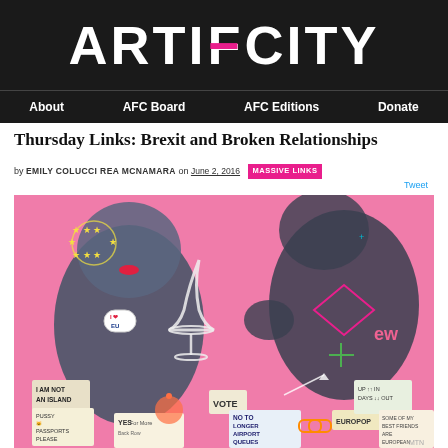ARTIF=CITY
About | AFC Board | AFC Editions | Donate
Thursday Links: Brexit and Broken Relationships
by EMILY COLUCCI REA MCNAMARA on JUNE 2, 2016 MASSIVE LINKS
Tweet
[Figure (illustration): Colorful painting on pink background featuring two abstract figures with protest signs referencing Brexit: 'I AM NOT AN ISLAND', 'PUSSY PASSPORTS PLEASE', 'YES For More Back Row', 'VOTE', 'NO TO LONGER AIRPORT QUEUES', 'EUROPOP', 'UP IN DAYS OUT', 'SOME OF MY BEST FRIENDS ARE EUROPEAN'. One figure wears an 'I ❤ EU' badge and EU star crown. The painting has a graffiti/pop-art style.]